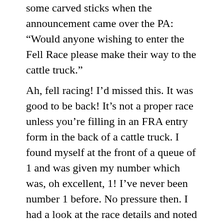some carved sticks when the announcement came over the PA: “Would anyone wishing to enter the Fell Race please make their way to the cattle truck.”
Ah, fell racing! I’d missed this. It was good to be back! It’s not a proper race unless you’re filling in an FRA entry form in the back of a cattle truck. I found myself at the front of a queue of 1 and was given my number which was, oh excellent, 1! I’ve never been number 1 before. No pressure then. I had a look at the race details and noted it was an AS. Roberta noticing the worried frown that passed across my otherwise tranquil features asked, “What does AS mean?”. “Er, well basically, short and